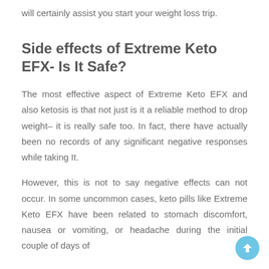will certainly assist you start your weight loss trip.
Side effects of Extreme Keto EFX- Is It Safe?
The most effective aspect of Extreme Keto EFX and also ketosis is that not just is it a reliable method to drop weight– it is really safe too. In fact, there have actually been no records of any significant negative responses while taking It.
However, this is not to say negative effects can not occur. In some uncommon cases, keto pills like Extreme Keto EFX have been related to stomach discomfort, nausea or vomiting, or headache during the initial couple of days of